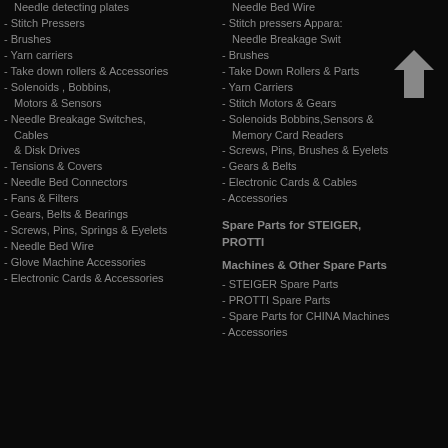Needle detecting plates
- Stitch Pressers
- Brushes
- Yarn carriers
- Take down rollers & Accessories
- Solenoids , Bobbins, Motors & Sensors
- Needle Breakage Switches, Cables & Disk Drives
- Tensions & Covers
- Needle Bed Connectors
- Fans & Filters
- Gears, Belts & Bearings
- Screws, Pins, Springs & Eyelets
- Needle Bed Wire
- Glove Machine Accessories
- Electronic Cards & Accessories
Needle Bed Wire
- Stitch pressers Appara: Needle Breakage Swit
- Brushes
- Take Down Rollers & Parts
- Yarn Carriers
- Stitch Motors & Gears
- Solenoids Bobbins,Sensors & Memory Card Readers
- Screws, Pins, Brushes & Eyelets
- Gears & Belts
- Electronic Cards & Cables
- Accessories
Spare Parts for STEIGER, PROTTI Machines & Other Spare Parts
- STEIGER Spare Parts
- PROTTI Spare Parts
- Spare Parts for CHINA Machines
- Accessories